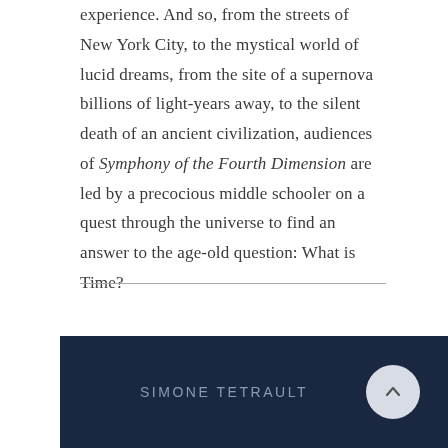experience. And so, from the streets of New York City, to the mystical world of lucid dreams, from the site of a supernova billions of light-years away, to the silent death of an ancient civilization, audiences of Symphony of the Fourth Dimension are led by a precocious middle schooler on a quest through the universe to find an answer to the age-old question: What is Time?
SIMONE TETRAULT